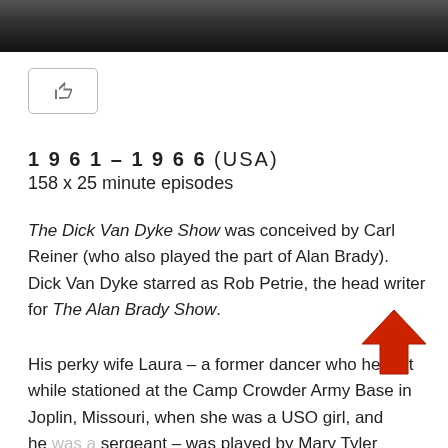[Figure (photo): Black and white photo strip at the top of the page showing people]
[Figure (other): Like/thumbs-up button with a rounded rectangle border]
1 9 6 1 – 1 9 6 6 (USA)
158 x 25 minute episodes
The Dick Van Dyke Show was conceived by Carl Reiner (who also played the part of Alan Brady).  Dick Van Dyke starred as Rob Petrie, the head writer for The Alan Brady Show.
His perky wife Laura – a former dancer who he met while stationed at the Camp Crowder Army Base in Joplin, Missouri, when she was a USO girl, and he was a sergeant – was played by Mary Tyler Moore. They lived with their son Ritchie at Bonnie Meadow Road, New